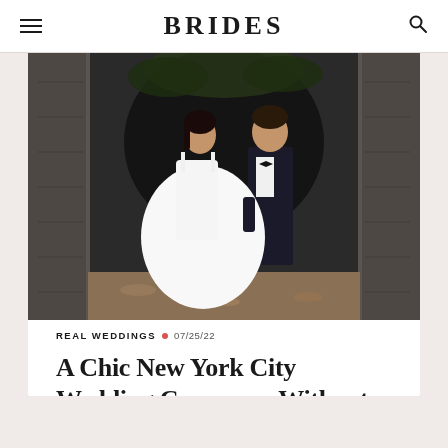BRIDES
[Figure (photo): A bride in a white ballgown and groom in a black tuxedo standing together in a stone archway tunnel, looking at each other. Autumn leaves on the ground.]
REAL WEDDINGS • 07/25/22
A Chic New York City Wedding Ceremony Without a Single Flower